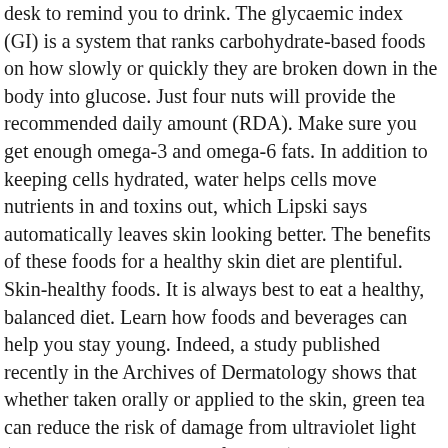desk to remind you to drink. The glycaemic index (GI) is a system that ranks carbohydrate-based foods on how slowly or quickly they are broken down in the body into glucose. Just four nuts will provide the recommended daily amount (RDA). Make sure you get enough omega-3 and omega-6 fats. In addition to keeping cells hydrated, water helps cells move nutrients in and toxins out, which Lipski says automatically leaves skin looking better. The benefits of these foods for a healthy skin diet are plentiful. Skin-healthy foods. It is always best to eat a healthy, balanced diet. Learn how foods and beverages can help you stay young. Indeed, a study published recently in the Archives of Dermatology shows that whether taken orally or applied to the skin, green tea can reduce the risk of damage from ultraviolet light (such as the burning rays of the sun), and thus reduce the risk of skin cancer. All rights reserved. Because of their vitamin A and C content, avocados are one of the best foods for clear, healthy skin. This beverage deserves a category all its own in any article about a healthy skin diet. "The free fatty acids serve as building blocks for healthy skin cells" Resiliency. Subscribe to...